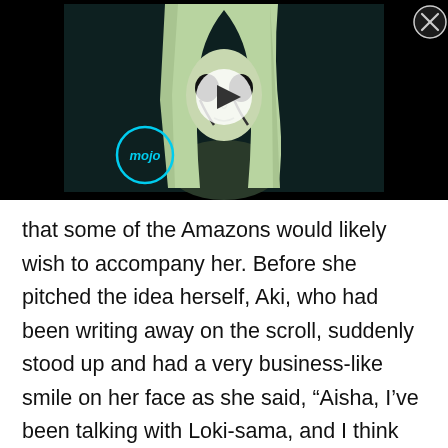[Figure (screenshot): Anime video thumbnail showing a female character with long light-colored hair and dark markings on her face, with a play button overlay and the 'mojo' logo in cyan. Black background around the video frame. A close (X) button is in the top right corner.]
that some of the Amazons would likely wish to accompany her. Before she pitched the idea herself, Aki, who had been writing away on the scroll, suddenly stood up and had a very business-like smile on her face as she said, “Aisha, I’ve been talking with Loki-sama, and I think we’ve come up with a good solution if you’re thinking about relocating the Amazon’s within the City.”